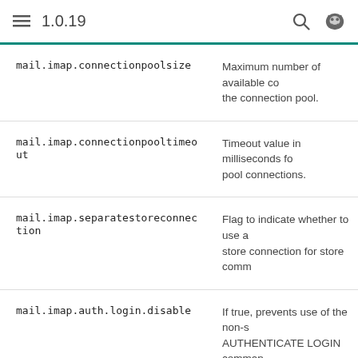1.0.19
| Property | Description |
| --- | --- |
| mail.imap.connectionpoolsize | Maximum number of available connections in the connection pool. |
| mail.imap.connectionpooltimeout | Timeout value in milliseconds for connection pool connections. |
| mail.imap.separatestoreconnection | Flag to indicate whether to use a separate store connection for store commands. |
| mail.imap.auth.login.disable | If true, prevents use of the non-standard AUTHENTICATE LOGIN command, instead using the plain LOGIN command. |
| mail.imap.auth.plain.disable | If true, prevents use of the AUTH PLAIN command. |
| mail.imap.auth.ntlm.disable | If true, prevents use of the AUTH NTLM command. |